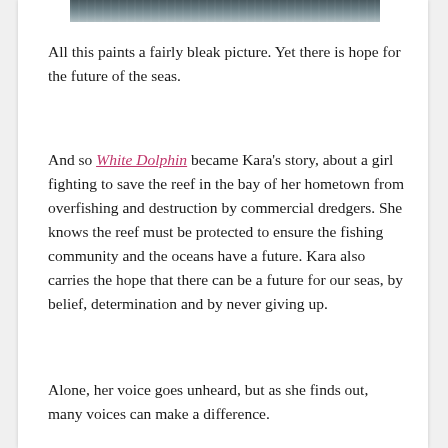[Figure (photo): Top portion of an ocean/sea photograph showing dark choppy water]
All this paints a fairly bleak picture. Yet there is hope for the future of the seas.
And so White Dolphin became Kara's story, about a girl fighting to save the reef in the bay of her hometown from overfishing and destruction by commercial dredgers. She knows the reef must be protected to ensure the fishing community and the oceans have a future. Kara also carries the hope that there can be a future for our seas, by belief, determination and by never giving up.
Alone, her voice goes unheard, but as she finds out, many voices can make a difference.